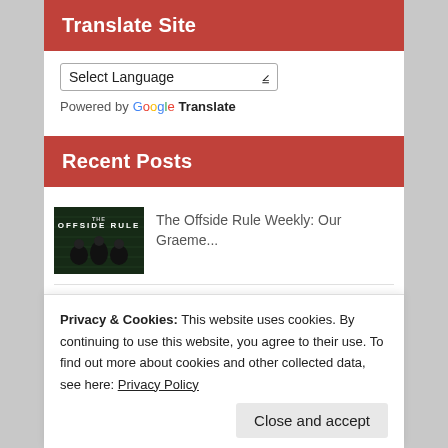Translate Site
Select Language
Powered by Google Translate
Recent Posts
[Figure (photo): Thumbnail image for The Offside Rule Weekly post showing show logo with women]
The Offside Rule Weekly: Our Graeme...
[Figure (photo): Thumbnail image for post about Souness]
I don't think Souness was being misogynistic
Privacy & Cookies: This website uses cookies. By continuing to use this website, you agree to their use. To find out more about cookies and other collected data, see here: Privacy Policy
Close and accept